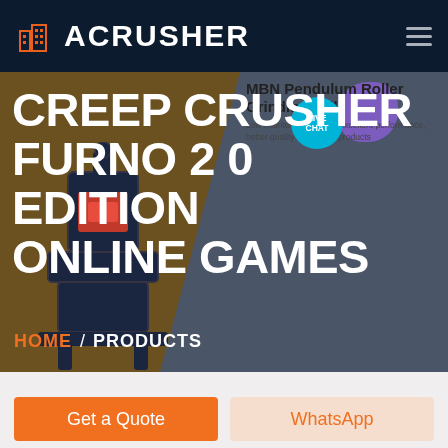ACRUSHER
CREEP CRUSHER FURNO 2 0 EDITION ONLINE GAMES
MBN Pendulum Roller Grinding Mill
Low maintenance costs, excellent performance, better quality of finished products
LIVE CHAT
HOME / PRODUCTS
Get a Quote
WhatsApp